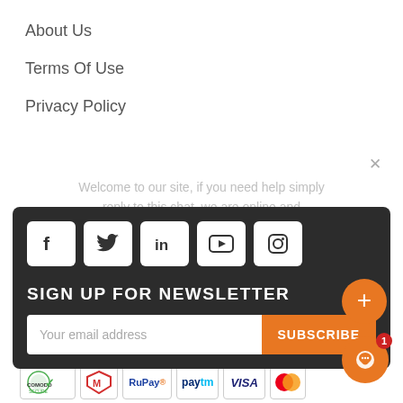About Us
Terms Of Use
Privacy Policy
Welcome to our site, if you need help simply reply to this chat, we are online and ready to help.
[Figure (screenshot): Dark footer panel with social media icons (Facebook, Twitter, LinkedIn, YouTube, Instagram), newsletter signup form with email input and orange SUBSCRIBE button]
GalioIndia © 2021. All Rights Reserved.
[Figure (infographic): Row of payment logos: Comodo Secure, McAfee, RuPay, Paytm, Visa, Mastercard]
[Figure (other): Orange plus (+) circular button and orange chat bubble button with red badge showing 1]